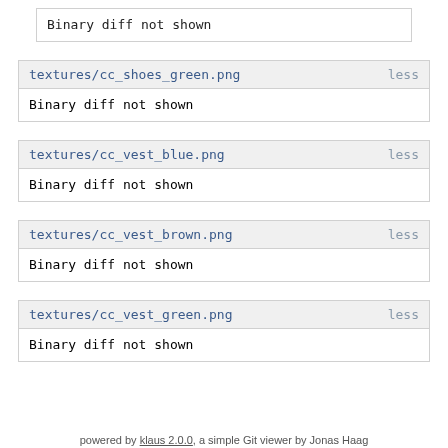Binary diff not shown
textures/cc_shoes_green.png               less
Binary diff not shown
textures/cc_vest_blue.png               less
Binary diff not shown
textures/cc_vest_brown.png               less
Binary diff not shown
textures/cc_vest_green.png               less
Binary diff not shown
powered by klaus 2.0.0, a simple Git viewer by Jonas Haag